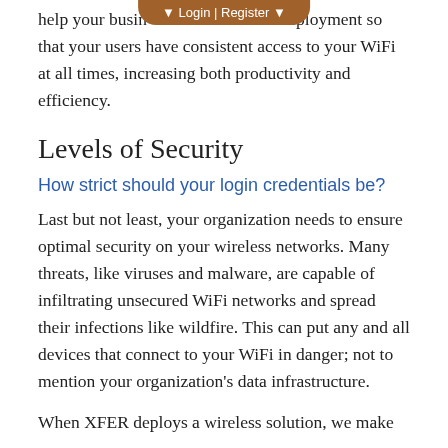Login | Register
help your business with proper deployment so that your users have consistent access to your WiFi at all times, increasing both productivity and efficiency.
Levels of Security
How strict should your login credentials be?
Last but not least, your organization needs to ensure optimal security on your wireless networks. Many threats, like viruses and malware, are capable of infiltrating unsecured WiFi networks and spread their infections like wildfire. This can put any and all devices that connect to your WiFi in danger; not to mention your organization's data infrastructure.
When XFER deploys a wireless solution, we make